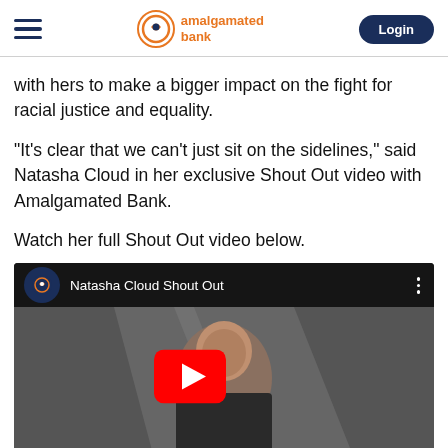amalgamated bank | Login
with hers to make a bigger impact on the fight for racial justice and equality.
“It’s clear that we can’t just sit on the sidelines,” said Natasha Cloud in her exclusive Shout Out video with Amalgamated Bank.
Watch her full Shout Out video below.
[Figure (screenshot): YouTube video thumbnail showing Natasha Cloud with title 'Natasha Cloud Shout Out' and YouTube play button overlay]